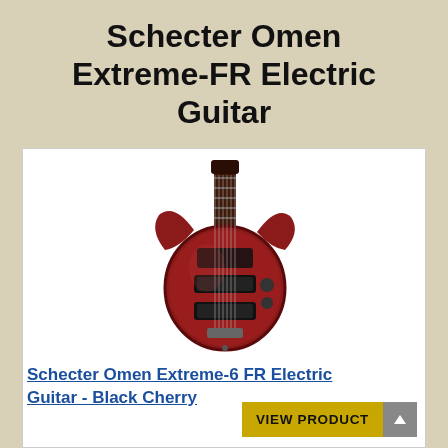Schecter Omen Extreme-FR Electric Guitar
[Figure (photo): Photo of a Schecter Omen Extreme-6 FR Electric Guitar in Black Cherry finish, showing the body and neck of the guitar with two humbuckers and a Floyd Rose style bridge]
Schecter Omen Extreme-6 FR Electric Guitar - Black Cherry